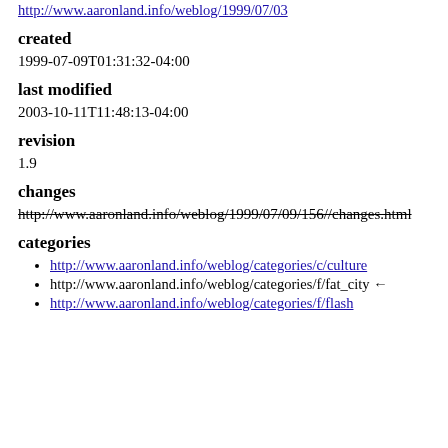http://www.aaronland.info/weblog/1999/07/03
created
1999-07-09T01:31:32-04:00
last modified
2003-10-11T11:48:13-04:00
revision
1.9
changes
http://www.aaronland.info/weblog/1999/07/09/156//changes.html (strikethrough)
categories
http://www.aaronland.info/weblog/categories/c/culture
http://www.aaronland.info/weblog/categories/f/fat_city ←
http://www.aaronland.info/weblog/categories/f/flash